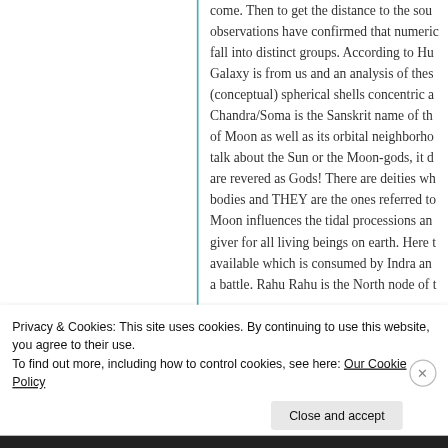come. Then to get the distance to the sou observations have confirmed that numeric fall into distinct groups. According to Hu Galaxy is from us and an analysis of thes (conceptual) spherical shells concentric a Chandra/Soma is the Sanskrit name of th of Moon as well as its orbital neighborho talk about the Sun or the Moon-gods, it d are revered as Gods! There are deities wh bodies and THEY are the ones referred to Moon influences the tidal processions an giver for all living beings on earth. Here t available which is consumed by Indra an a battle. Rahu Rahu is the North node of t
Privacy & Cookies: This site uses cookies. By continuing to use this website, you agree to their use.
To find out more, including how to control cookies, see here: Our Cookie Policy
Close and accept